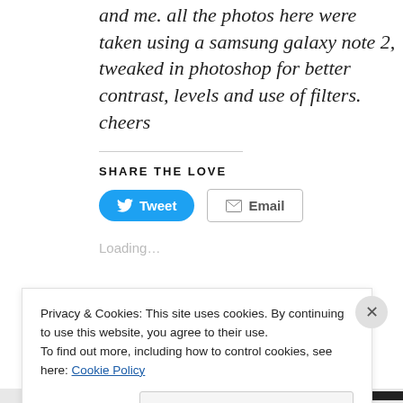and me. all the photos here were taken using a samsung galaxy note 2, tweaked in photoshop for better contrast, levels and use of filters. cheers
SHARE THE LOVE
[Figure (screenshot): Tweet and Email share buttons]
Loading...
Privacy & Cookies: This site uses cookies. By continuing to use this website, you agree to their use. To find out more, including how to control cookies, see here: Cookie Policy
Close and accept